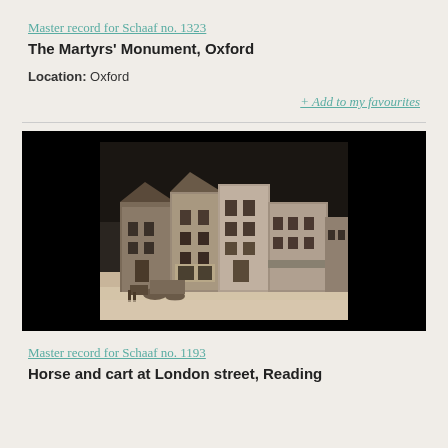Master record for Schaaf no. 1323
The Martyrs' Monument, Oxford
Location: Oxford
+ Add to my favourites
[Figure (photo): Historical black and white photograph showing a street scene with horse and buildings, displayed against a black background. The image appears to be an early calotype or similar 19th century photographic print showing multi-storey buildings along a street.]
Master record for Schaaf no. 1193
Horse and cart at London street, Reading